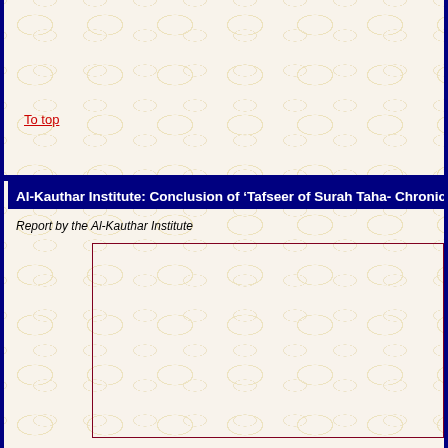To top
Al-Kauthar Institute: Conclusion of ‘Tafseer of Surah Taha- Chronicle
Report by the Al-Kauthar Institute